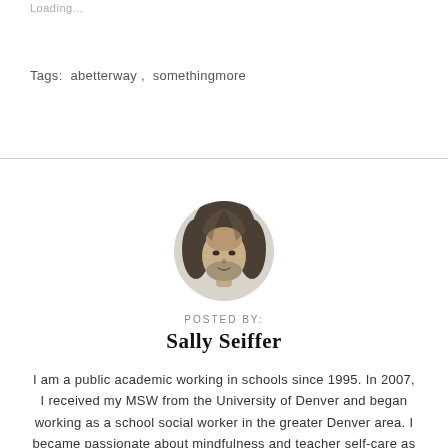Loading...
Tags:  abetterway ,  somethingmore
[Figure (photo): Circular black and white portrait photo of Sally Seiffer, a woman with long blonde hair, smiling slightly.]
POSTED BY:
Sally Seiffer
I am a public academic working in schools since 1995. In 2007, I received my MSW from the University of Denver and began working as a school social worker in the greater Denver area. I became passionate about mindfulness and teacher self-care as